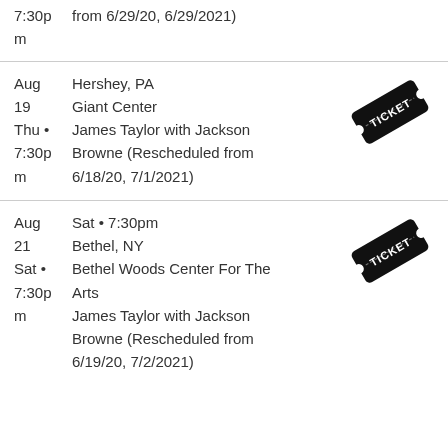7:30pm  from 6/29/20, 6/29/2021)
m
Aug 19 Thu • 7:30pm  Hershey, PA  Giant Center  James Taylor with Jackson Browne (Rescheduled from 6/18/20, 7/1/2021)
[Figure (illustration): Black ticket icon with the word TICKET in white text diagonally]
Aug 21 Sat • 7:30pm  Bethel, NY  Bethel Woods Center For The Arts  James Taylor with Jackson Browne (Rescheduled from 6/19/20, 7/2/2021)
[Figure (illustration): Black ticket icon with the word TICKET in white text diagonally]